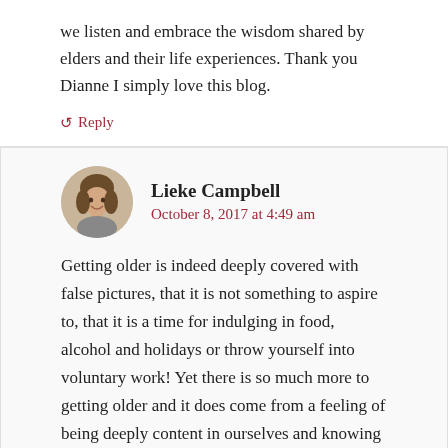we listen and embrace the wisdom shared by elders and their life experiences. Thank you Dianne I simply love this blog.
↺ Reply
Lieke Campbell
October 8, 2017 at 4:49 am
Getting older is indeed deeply covered with false pictures, that it is not something to aspire to, that it is a time for indulging in food, alcohol and holidays or throw yourself into voluntary work! Yet there is so much more to getting older and it does come from a feeling of being deeply content in ourselves and knowing what an important reflection of love and joy we can be in